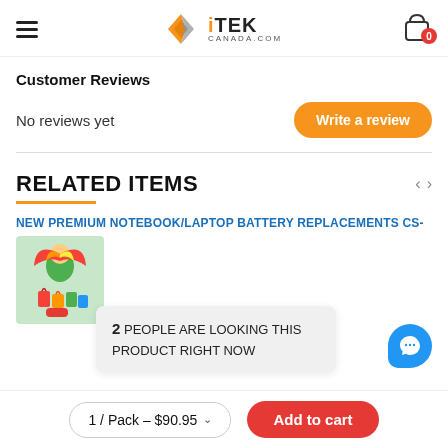iTEK CANADA.COM
Customer Reviews
No reviews yet
Write a review
RELATED ITEMS
NEW PREMIUM NOTEBOOK/LAPTOP BATTERY REPLACEMENTS CS-
[Figure (photo): Woman holding a colorful umbrella with shopping bags]
2 PEOPLE ARE LOOKING THIS PRODUCT RIGHT NOW
1 / Pack – $90.95
Add to cart